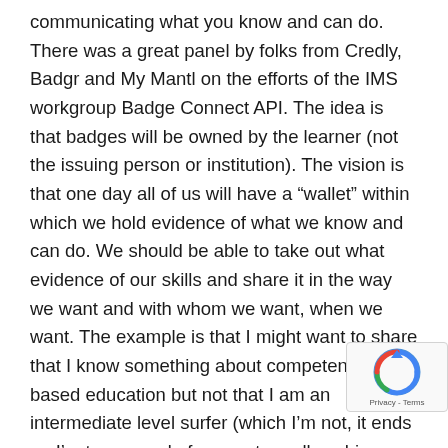communicating what you know and can do. There was a great panel by folks from Credly, Badgr and My Mantl on the efforts of the IMS workgroup Badge Connect API. The idea is that badges will be owned by the learner (not the issuing person or institution). The vision is that one day all of us will have a “wallet” within which we hold evidence of what we know and can do. We should be able to take out what evidence of our skills and share it in the way we want and with whom we want, when we want. The example is that I might want to share that I know something about competency-based education but not that I am an intermediate level surfer (which I’m not, it ends up I’m too scared of waves to really achieve my goals
The IMS Global workgroup (IMS Global is wonderfully
[Figure (other): Google reCAPTCHA widget overlay in bottom-right corner showing the reCAPTCHA logo and Privacy - Terms links]